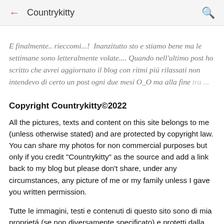← Countrykitty 🔍
E finalmente.. rieccomi...!  Inanzitutto sto e stiamo bene ma le settimane sono letteralmente volate.... Quando nell'ultimo post ho scritto che avrei aggiornato il blog con ritmi piú rilassati non intendevo di certo un post ogni due mesi O_O ma alla fine tra ...
Copyright Countrykitty©2022
All the pictures, texts and content on this site belongs to me (unless otherwise stated) and are protected by copyright law. You can share my photos for non commercial purposes but only if you credit "Countrykitty" as the source and add a link back to my blog but please don't share, under any circumstances, any picture of me or my family unless I gave you written permission.
Tutte le immagini, testi e contenuti di questo sito sono di mia proprietá (se non diversamente specificato) e protetti dalla